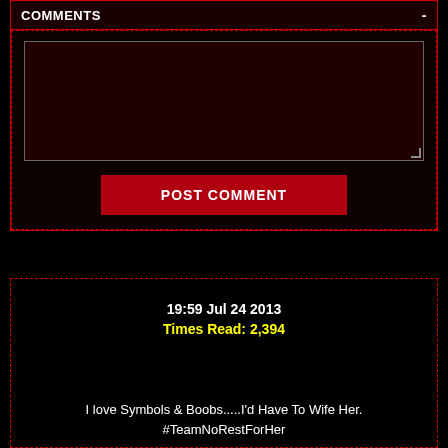COMMENTS
[Figure (screenshot): Comment input textarea box with dark red background and resize handle]
POST COMMENT
19:59 Jul 24 2013
Times Read: 2,394
I love Symbols & Boobs.....I'd Have To Wife Her. #TeamNoRestForHer